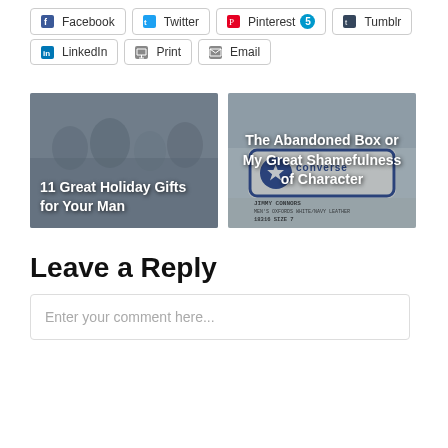[Figure (screenshot): Social share buttons row 1: Facebook, Twitter, Pinterest (with badge 5), Tumblr]
[Figure (screenshot): Social share buttons row 2: LinkedIn, Print, Email]
[Figure (photo): Article card: '11 Great Holiday Gifts for Your Man' with grayscale photo background]
[Figure (photo): Article card: 'The Abandoned Box or My Great Shamefulness of Character' with Converse shoe label photo background]
Leave a Reply
Enter your comment here...